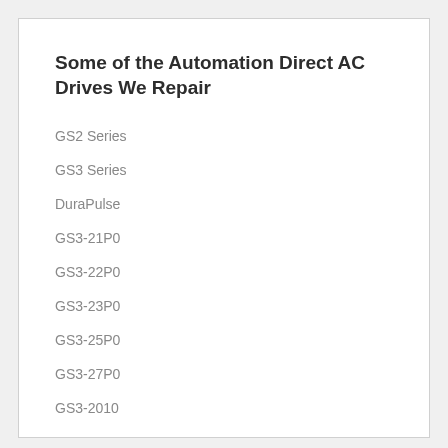Some of the Automation Direct AC Drives We Repair
GS2 Series
GS3 Series
DuraPulse
GS3-21P0
GS3-22P0
GS3-23P0
GS3-25P0
GS3-27P0
GS3-2010